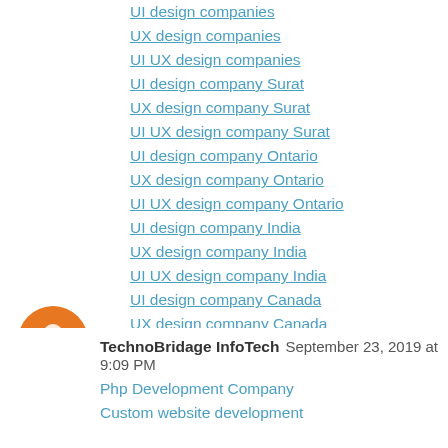UI design companies
UX design companies
UI UX design companies
UI design company Surat
UX design company Surat
UI UX design company Surat
UI design company Ontario
UX design company Ontario
UI UX design company Ontario
UI design company India
UX design company India
UI UX design company India
UI design company Canada
UX design company Canada
UI UX design company Canada
Reply
TechnoBridage InfoTech  September 23, 2019 at 9:09 PM
Php Development Company
Custom website development